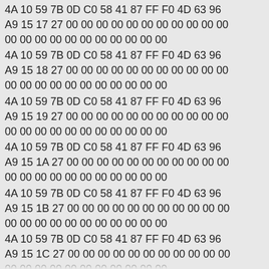4A 10 59 7B 0D C0 58 41 87 FF F0 4D 63 96
A9 15 17 27 00 00 00 00 00 00 00 00 00 00 00
00 00 00 00 00 00 00 00 00 00 00
4A 10 59 7B 0D C0 58 41 87 FF F0 4D 63 96
A9 15 18 27 00 00 00 00 00 00 00 00 00 00 00
00 00 00 00 00 00 00 00 00 00 00
4A 10 59 7B 0D C0 58 41 87 FF F0 4D 63 96
A9 15 19 27 00 00 00 00 00 00 00 00 00 00 00
00 00 00 00 00 00 00 00 00 00 00
4A 10 59 7B 0D C0 58 41 87 FF F0 4D 63 96
A9 15 1A 27 00 00 00 00 00 00 00 00 00 00 00
00 00 00 00 00 00 00 00 00 00 00
4A 10 59 7B 0D C0 58 41 87 FF F0 4D 63 96
A9 15 1B 27 00 00 00 00 00 00 00 00 00 00 00
00 00 00 00 00 00 00 00 00 00 00
4A 10 59 7B 0D C0 58 41 87 FF F0 4D 63 96
A9 15 1C 27 00 00 00 00 00 00 00 00 00 00 00
00 00 00 00 00 00 00 00 00 00 00
00 00 00 00 00 00 00 00 00 00 00 00 00 00 00